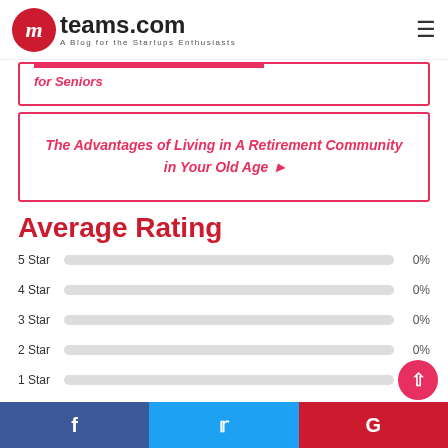mteams.com — A Blog for the Startups Enthusiasts
for Seniors
The Advantages of Living in A Retirement Community in Your Old Age
Average Rating
[Figure (bar-chart): Average Rating]
(Add your review)
f  Twitter  G